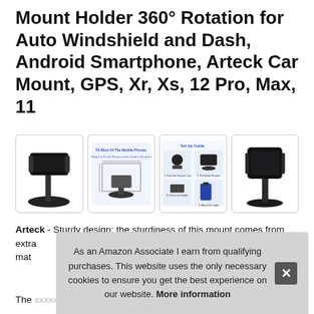Mount Holder 360° Rotation for Auto Windshield and Dash, Android Smartphone, Arteck Car Mount, GPS, Xr, Xs, 12 Pro, Max, 11
[Figure (photo): Four product images of a car phone mount: 1) side view of mount on suction cup base, 2) mount with phone size guide diagram, 3) setup guide with 4-step illustration, 4) black mount holding a smartphone]
Arteck - Sturdy design: the sturdiness of this mount comes from extra mat
The mount is generally lightweight and compact making it
As an Amazon Associate I earn from qualifying purchases. This website uses the only necessary cookies to ensure you get the best experience on our website. More information